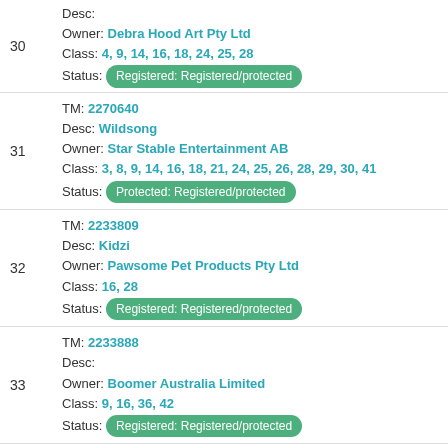30 | Desc: | Owner: Debra Hood Art Pty Ltd | Class: 4, 9, 14, 16, 18, 24, 25, 28 | Status: Registered: Registered/protected
31 | TM: 2270640 | Desc: Wildsong | Owner: Star Stable Entertainment AB | Class: 3, 8, 9, 14, 16, 18, 21, 24, 25, 26, 28, 29, 30, 41 | Status: Protected: Registered/protected
32 | TM: 2233809 | Desc: Kidzi | Owner: Pawsome Pet Products Pty Ltd | Class: 16, 28 | Status: Registered: Registered/protected
33 | TM: 2233888 | Desc: | Owner: Boomer Australia Limited | Class: 9, 16, 36, 42 | Status: Registered: Registered/protected
34 | TM: 2232712 | Desc: INDI KINDI | Owner: Moriarty Foundation Limited | Class: (truncated)